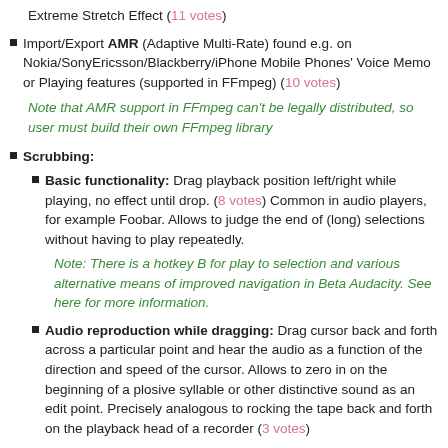Extreme Stretch Effect (11 votes)
Import/Export AMR (Adaptive Multi-Rate) found e.g. on Nokia/SonyEricsson/Blackberry/iPhone Mobile Phones' Voice Memo or Playing features (supported in FFmpeg) (10 votes)
Note that AMR support in FFmpeg can't be legally distributed, so user must build their own FFmpeg library
Scrubbing:
Basic functionality: Drag playback position left/right while playing, no effect until drop. (8 votes) Common in audio players, for example Foobar. Allows to judge the end of (long) selections without having to play repeatedly.
Note: There is a hotkey B for play to selection and various alternative means of improved navigation in Beta Audacity. See here for more information.
Audio reproduction while dragging: Drag cursor back and forth across a particular point and hear the audio as a function of the direction and speed of the cursor. Allows to zero in on the beginning of a plosive syllable or other distinctive sound as an edit point. Precisely analogous to rocking the tape back and forth on the playback head of a recorder (3 votes)